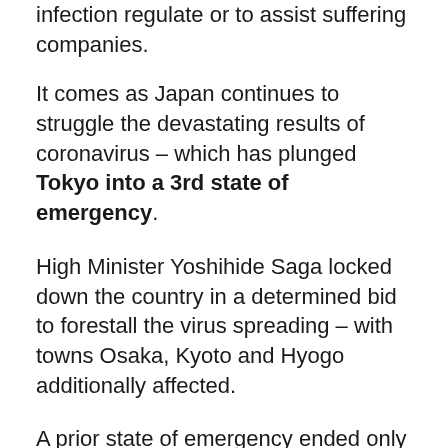infection regulate or to assist suffering companies.
It comes as Japan continues to struggle the devastating results of coronavirus – which has plunged Tokyo into a 3rd state of emergency.
High Minister Yoshihide Saga locked down the country in a determined bid to forestall the virus spreading – with towns Osaka, Kyoto and Hyogo additionally affected.
A prior state of emergency ended only one month in the past.
[ad_2]